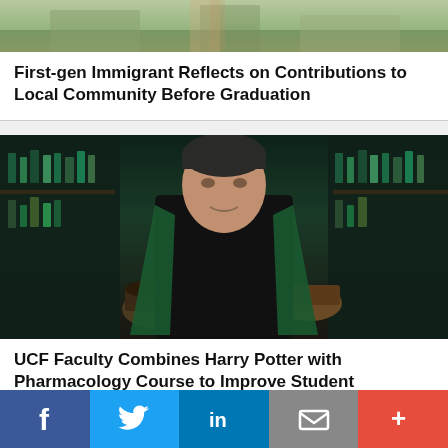[Figure (photo): Partial top photo showing outdoor scene, person cropped at top]
First-gen Immigrant Reflects on Contributions to Local Community Before Graduation
[Figure (photo): UCF faculty member in black turtleneck with green academic regalia, in a potion shop setting resembling Harry Potter]
UCF Faculty Combines Harry Potter with Pharmacology Course to Improve Student
f  in  [mail icon]  +